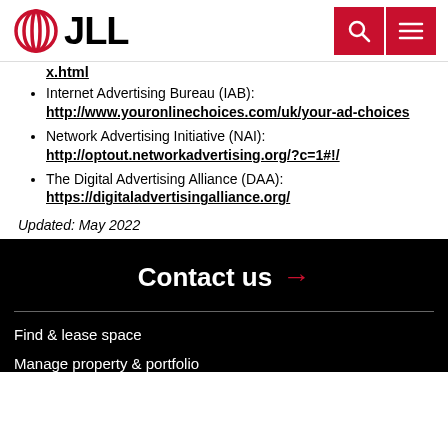JLL logo and navigation
x.html (link)
Internet Advertising Bureau (IAB): http://www.youronlinechoices.com/uk/your-ad-choices
Network Advertising Initiative (NAI): http://optout.networkadvertising.org/?c=1#!/
The Digital Advertising Alliance (DAA): https://digitaladvertisingalliance.org/
Updated: May 2022
Contact us →
Find & lease space
Manage property & portfolio